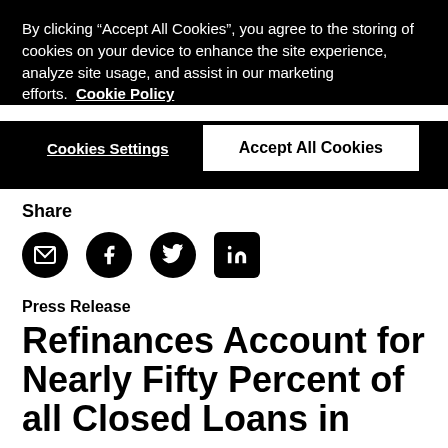By clicking “Accept All Cookies”, you agree to the storing of cookies on your device to enhance the site experience, analyze site usage, and assist in our marketing efforts.  Cookie Policy
Cookies Settings
Accept All Cookies
Share
[Figure (infographic): Social sharing icons: email (envelope), Facebook, Twitter, LinkedIn]
Press Release
Refinances Account for Nearly Fifty Percent of all Closed Loans in September...